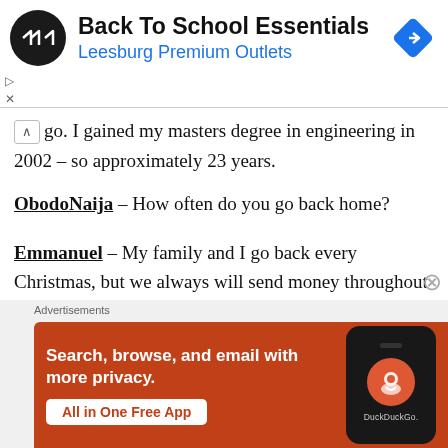[Figure (other): Top advertisement banner for Back To School Essentials at Leesburg Premium Outlets, with a circular logo and navigation arrow icon]
go. I gained my masters degree in engineering in 2002 – so approximately 23 years.
ObodoNaija – How often do you go back home?
Emmanuel – My family and I go back every Christmas, but we always will send money throughout the year to our relations back home.
ObodoNaija – Why don't you go back to Nigeria to work and live?
[Figure (other): DuckDuckGo advertisement: Search, browse, and email with more privacy. All in One Free App. Shows a phone with DuckDuckGo logo.]